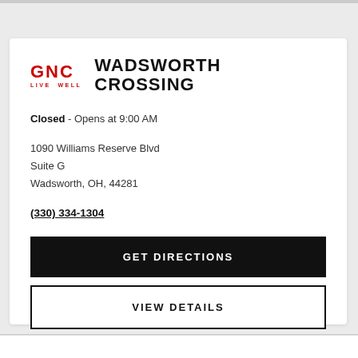[Figure (logo): GNC Live Well logo in red]
WADSWORTH CROSSING
Closed - Opens at 9:00 AM
1090 Williams Reserve Blvd
Suite G
Wadsworth, OH, 44281
(330) 334-1304
GET DIRECTIONS
VIEW DETAILS